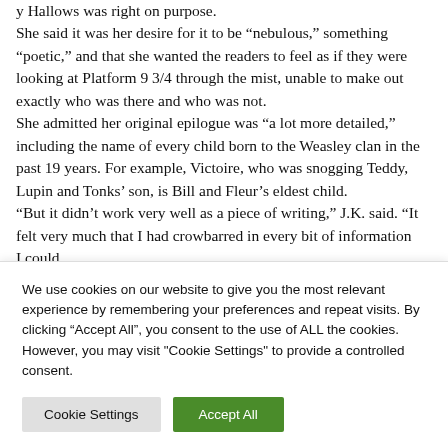y Hallows was right on purpose. She said it was her desire for it to be “nebulous,” something “poetic,” and that she wanted the readers to feel as if they were looking at Platform 9 3/4 through the mist, unable to make out exactly who was there and who was not. She admitted her original epilogue was “a lot more detailed,” including the name of every child born to the Weasley clan in the past 19 years. For example, Victoire, who was snogging Teddy, Lupin and Tonks’ son, is Bill and Fleur’s eldest child. “But it didn’t work very well as a piece of writing,” J.K. said. “It felt very much that I had crowbarred in every bit of information I could...
We use cookies on our website to give you the most relevant experience by remembering your preferences and repeat visits. By clicking “Accept All”, you consent to the use of ALL the cookies. However, you may visit "Cookie Settings" to provide a controlled consent.